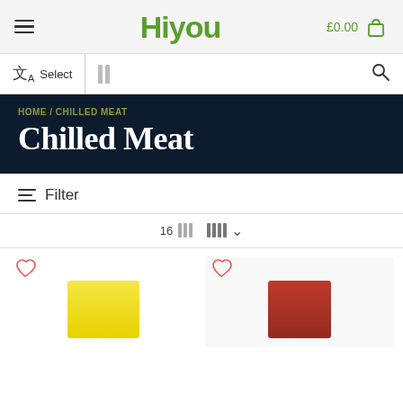HiYOU £0.00
Select
Chilled Meat
HOME / CHILLED MEAT
Filter
16
[Figure (screenshot): Two product cards showing chilled meat products with heart/wishlist icons]